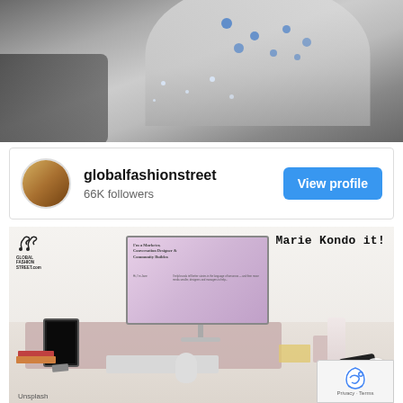[Figure (photo): Top banner showing a close-up photo of an umbrella with blue polka dots and water droplets splashing, in black and white with blue color accents]
globalfashionstreet
66K followers
View profile
[Figure (photo): Instagram post from globalfashionstreet showing a clean desk setup with an iMac displaying a portfolio website, tablet on stand, keyboard, mouse, books, and decorative items. Text overlay reads 'Marie Kondo it!' with the Global Fashion Street logo. Unsplash credit at bottom. reCAPTCHA badge in bottom right corner.]